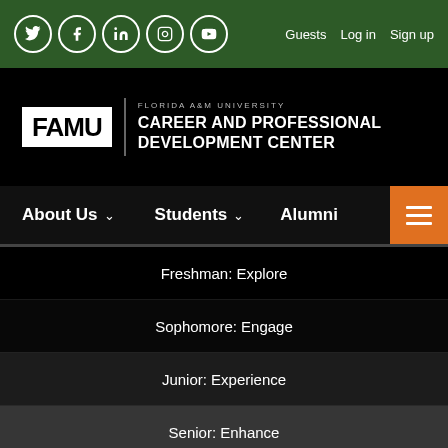Guests  Log in  Sign up
[Figure (logo): FAMU Florida A&M University Career and Professional Development Center logo on black background]
About Us  Students  Alumni
Freshman: Explore
Sophomore: Engage
Junior: Experience
Senior: Enhance
How to make an appointment with